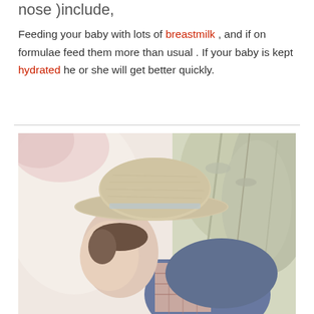nose )include,
Feeding your baby with lots of breastmilk , and if on formulae feed them more than usual . If your baby is kept hydrated he or she will get better quickly.
[Figure (photo): A young child wearing a straw/woven hat and a plaid shirt, leaning their head against a white surface. The background shows soft greenery. The image is warm and pastel-toned.]